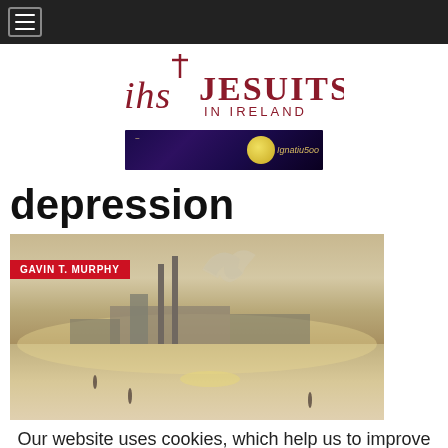Navigation bar with hamburger menu
[Figure (logo): Jesuits in Ireland logo with IHS cross symbol and text 'JESUITS IN IRELAND']
[Figure (photo): Ignatian 500 banner advertisement with moon and figure on dark purple background]
depression
[Figure (photo): Industrial waterfront scene with chimneys and hazy sky. Author tag reads: GAVIN T. MURPHY]
Our website uses cookies, which help us to improve our site and enables us to deliver the best possible browsing experience.
Accept   Read More